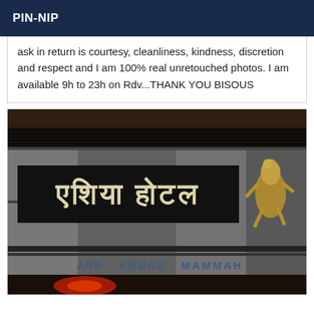PIN-NIP
ask in return is courtesy, cleanliness, kindness, discretion and respect and I am 100% real unretouched photos. I am available 9h to 23h on Rdv...THANK YOU BISOUS
[Figure (photo): Dark nighttime photo of what appears to be an Indian spa/hammam building facade with a sign in Devanagari script on a dark black band, and below it reversed text reading 'HAMMAM SAUNA SPA'. A golden Ganesha statue is mounted on the right side of the facade. The building exterior shows a stone/granite wall with dark metallic grill elements.]